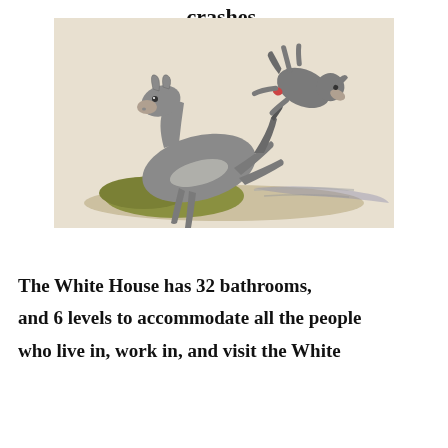crashes.
[Figure (illustration): A donkey kicking another animal (appears to be a wolf or fox) through the air, illustrated in a vintage style with watercolor-like coloring. The donkey stands on a grassy mound, hind legs extended in a kick.]
The White House has 32 bathrooms, and 6 levels to accommodate all the people who live in, work in, and visit the White